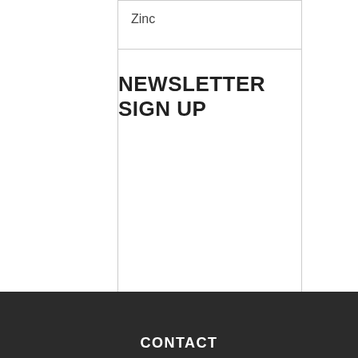Zinc
NEWSLETTER SIGN UP
CONTACT